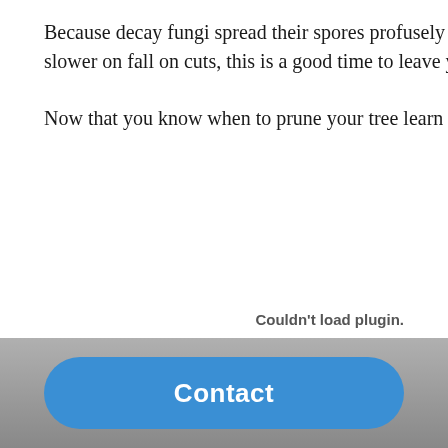Because decay fungi spread their spores profusely in the fall and wound closure is slower on fall on cuts, this is a good time to leave your pruning
Now that you know when to prune your tree learn the basics of
Couldn't load plugin.
Contact